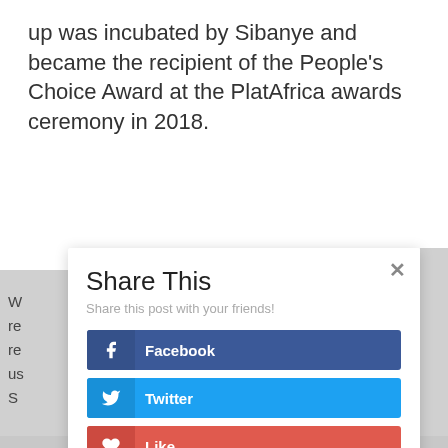up was incubated by Sibanye and became the recipient of the People's Choice Award at the PlatAfrica awards ceremony in 2018.
W re re us S
[Figure (screenshot): Share This modal dialog with subtitle 'Share this post with your friends!' and four social share buttons: Facebook (dark blue), Twitter (light blue), Like (red), LinkedIn (blue). A close (×) button in top right.]